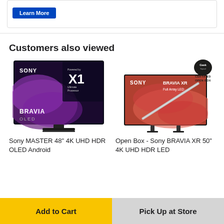[Figure (screenshot): Learn More button (blue) at top of page]
Customers also viewed
[Figure (photo): Sony MASTER 48" 4K UHD HDR OLED Android TV product image showing BRAVIA OLED with X1 Ultimate Processor branding]
[Figure (photo): Open Box Sony BRAVIA XR 50" 4K UHD HDR LED TV product image with Geek Squad Certified Open Box badge]
Sony MASTER 48" 4K UHD HDR OLED Android
Open Box - Sony BRAVIA XR 50" 4K UHD HDR LED
Add to Cart
Pick Up at Store